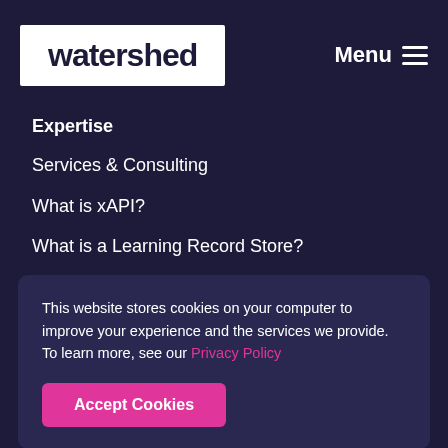watershed | Menu
Expertise
Services & Consulting
What is xAPI?
What is a Learning Record Store?
What is Learning Analytics?
Resources
This website stores cookies on your computer to improve your experience and the services we provide. To learn more, see our Privacy Policy
Accept Cookies
Knowledge Base